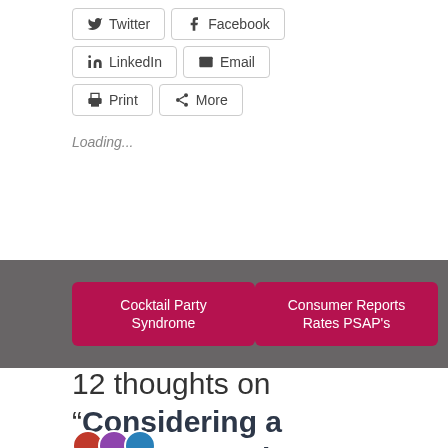Twitter | Facebook | LinkedIn | Email | Print | More (share buttons)
Loading...
Cocktail Party Syndrome
Consumer Reports Rates PSAP's
12 thoughts on “Considering a Cochlear Implant? You’re Never Too Old.”
[Figure (other): Avatar/profile picture row at bottom]